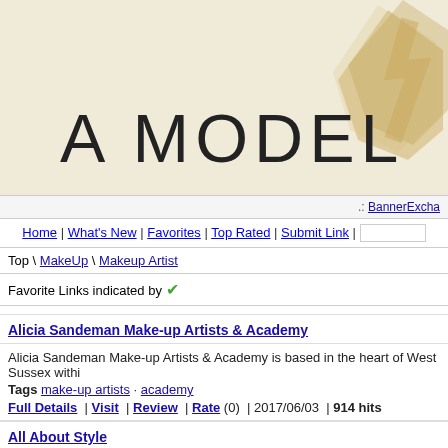[Figure (illustration): Website header banner with beige/cream background showing 'A MODEL' text in large thin font and a decorative geometric logo shape in gold/tan in the upper right corner]
.: BannerExchange
Home | What's New | Favorites | Top Rated | Submit Link |
Top \ MakeUp \ Makeup Artist
Favorite Links indicated by ✔
Alicia Sandeman Make-up Artists & Academy
Alicia Sandeman Make-up Artists & Academy is based in the heart of West Sussex withi...
Tags make-up artists · academy
Full Details | Visit | Review | Rate (0) | 2017/06/03 | 914 hits
All About Style
The complete styling service; Colour and Style Analysis, Make up Artistry, Fashion Fore... Styling